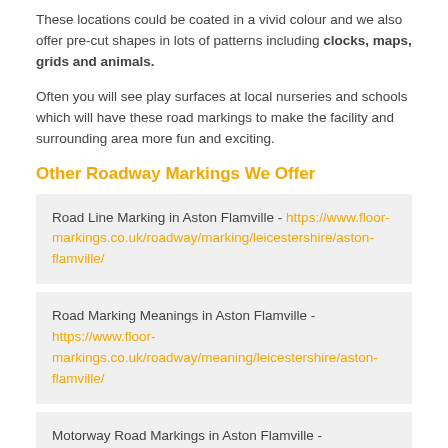These locations could be coated in a vivid colour and we also offer pre-cut shapes in lots of patterns including clocks, maps, grids and animals.
Often you will see play surfaces at local nurseries and schools which will have these road markings to make the facility and surrounding area more fun and exciting.
Other Roadway Markings We Offer
Road Line Marking in Aston Flamville - https://www.floor-markings.co.uk/roadway/marking/leicestershire/aston-flamville/
Road Marking Meanings in Aston Flamville - https://www.floor-markings.co.uk/roadway/meaning/leicestershire/aston-flamville/
Motorway Road Markings in Aston Flamville - https://www.floor-markings.co.uk/roadway/motorway/leicestershire/aston-flamville/